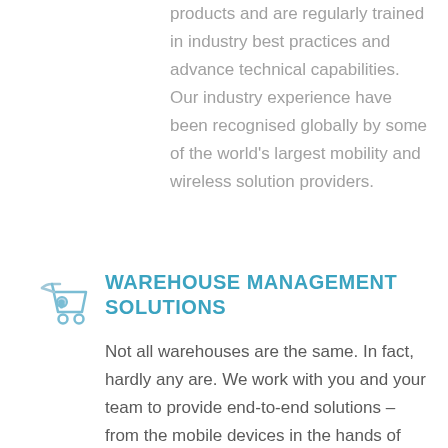products and are regularly trained in industry best practices and advance technical capabilities. Our industry experience have been recognised globally by some of the world's largest mobility and wireless solution providers.
[Figure (illustration): A light blue/gray icon of a shopping cart or warehouse cart, used as a section icon for Warehouse Management Solutions]
WAREHOUSE MANAGEMENT SOLUTIONS
Not all warehouses are the same. In fact, hardly any are. We work with you and your team to provide end-to-end solutions – from the mobile devices in the hands of your workforce to the wireless Wi-Fi